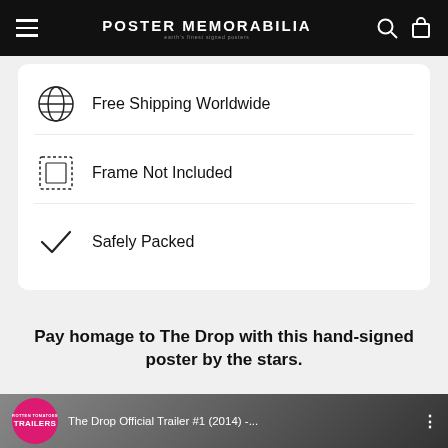POSTER MEMORABILIA
Free Shipping Worldwide
Frame Not Included
Safely Packed
Pay homage to The Drop with this hand-signed poster by the stars.
[Figure (screenshot): YouTube video thumbnail showing 'The Drop Official Trailer #1 (2014) -...' with a red circular Trailers badge logo and a man's face in the background]